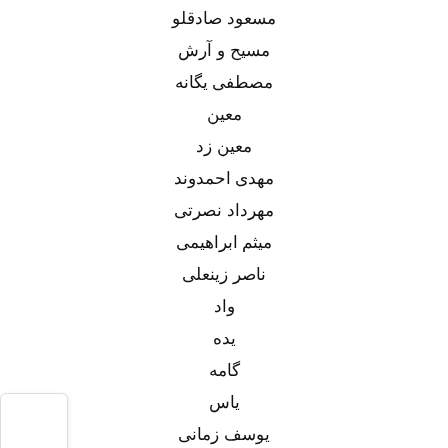مسعود صادقلو
مسیح و آرش
مصطفی یگانه
معین
معین زد
مهدی احمدوند
مهرداد نصرتی
میثم ابراهیمی
ناصر زینعلی
واد
یده
گامه
یاس
یوسف زمانی
بستن
فقط با ۱۰۰۰ تومان وارد قرعه کشی های ماهانه آیفون ۱۳ و PS5 شو!
کلیک کنید
صفحه اصلی
منو سایت
دسته بندی‌ها
جستجو